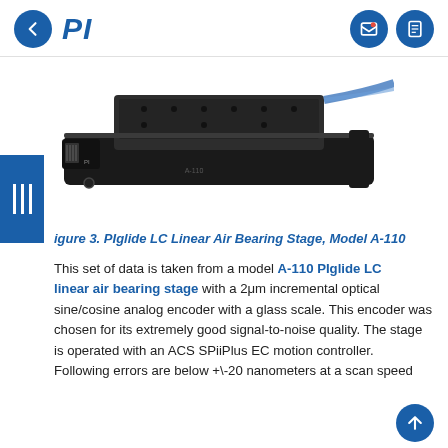PI (back button) | PI logo | (contact icon) (document icon)
[Figure (photo): PIglide LC Linear Air Bearing Stage, Model A-110 — a black linear motion stage with flat platform and cable]
igure 3. PIglide LC Linear Air Bearing Stage, Model A-110
This set of data is taken from a model A-110 PIglide LC linear air bearing stage with a 2μm incremental optical sine/cosine analog encoder with a glass scale. This encoder was chosen for its extremely good signal-to-noise quality. The stage is operated with an ACS SPiiPlus EC motion controller. Following errors are below +\-20 nanometers at a scan speed